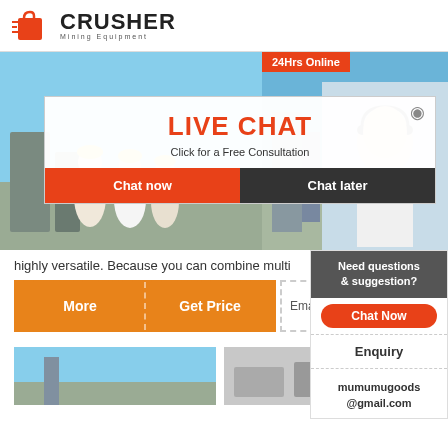[Figure (logo): Crusher Mining Equipment logo with red shopping bag icon and bold CRUSHER text]
[Figure (screenshot): Construction workers in hard hats at mining site - left banner image]
[Figure (screenshot): Mining equipment site - right banner image with '24Hrs Online' badge]
[Figure (screenshot): Live Chat overlay popup with 'LIVE CHAT', 'Click for a Free Consultation', Chat now and Chat later buttons, and customer service agent photo]
highly versatile. Because you can combine multi
[Figure (infographic): Orange More | Get Price buttons and Email contact box]
[Figure (infographic): Right side panel: Need questions & suggestion? Chat Now, Enquiry, mumumugoods@gmail.com]
[Figure (photo): Bottom left thumbnail - outdoor mining/sky scene]
[Figure (photo): Bottom right thumbnail - tools/equipment scene]